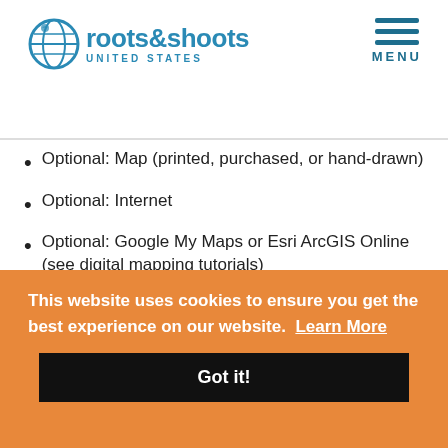[Figure (logo): Roots & Shoots United States logo with globe icon and menu hamburger button]
Optional: Map (printed, purchased, or hand-drawn)
Optional: Internet
Optional: Google My Maps or Esri ArcGIS Online (see digital mapping tutorials)
Optional: Building materials (blocks, Legos, boxes, etc)
This website uses cookies to ensure you get the best experience on our website. Learn More
Got it!